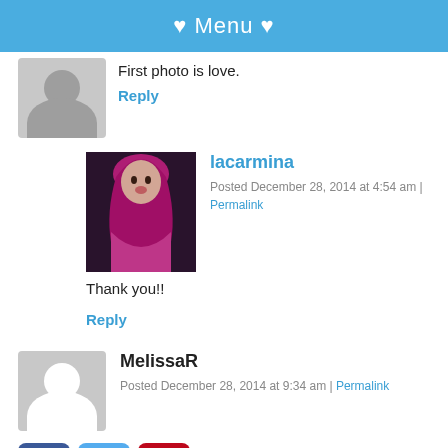♥ Menu ♥
[Figure (photo): Gray placeholder avatar (partially visible)]
First photo is love.
Reply
[Figure (photo): Photo of lacarmina with pink/purple hair wearing a pink outfit]
lacarmina
Posted December 28, 2014 at 4:54 am | Permalink
Thank you!!
Reply
[Figure (photo): Gray placeholder avatar for MelissaR]
MelissaR
Posted December 28, 2014 at 9:34 am | Permalink
[Figure (infographic): Social media icons: Facebook, Twitter, Pinterest, LinkedIn]